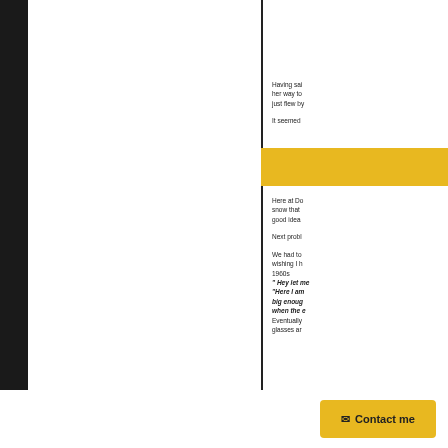Having said her way to just flew by
It seemed
[Figure (other): Yellow/golden horizontal bar divider]
Here at Do snow that good idea
Next probl
We had to wishing I h 1960s " Hey let me "Here I am big enoug when the e Eventually glasses ar